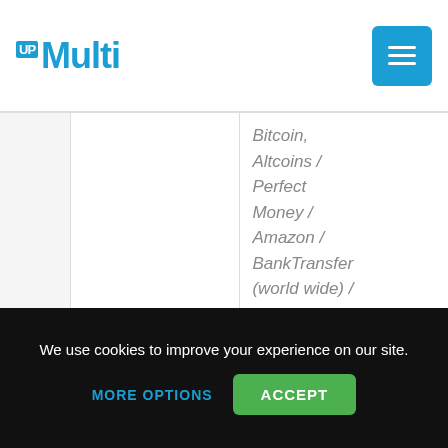Multi UP (logo)
|  | Site | Payment Methods | Action |
| --- | --- | --- | --- |
|  | PremiumInstant.com | Bitcoin, Altcoins / Perfect Money / Amazon / BankTransfer (world wide) / TrustPay (european bank transfer) / QIWI (CIS countries) / Dotpay (Poland) / Neosurf (France) / Bitcash / | Buy now |
We use cookies to improve your experience on our site.
MORE OPTIONS
ACCEPT